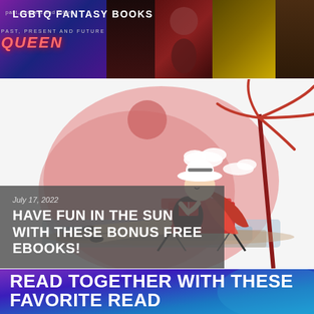[Figure (illustration): Dark mosaic banner with 'LGBTQ FANTASY BOOKS' label over book covers including a stylized 'QUEEN' text in red on a purple/dark background]
LGBTQ FANTASY BOOKS
[Figure (illustration): Illustration of a woman with red hair and white hat sitting on a beach chair reading a book, with a pink blob background, red palm tree, clouds, and water]
July 17, 2022
HAVE FUN IN THE SUN WITH THESE BONUS FREE EBOOKS!
[Figure (illustration): Purple-to-blue gradient banner with bold white text: READ TOGETHER WITH THESE FAVORITE READ]
READ TOGETHER WITH THESE FAVORITE READ